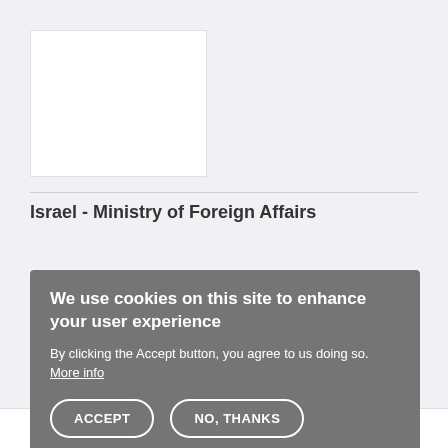[Figure (other): White rectangular image placeholder in upper left area of page]
Israel - Ministry of Foreign Affairs
We use cookies on this site to enhance your user experience
By clicking the Accept button, you agree to us doing so. More info
ACCEPT  NO, THANKS
[Figure (logo): Partial view of Arabic text logo at bottom of page, appears to be Qatar Foundation logo]